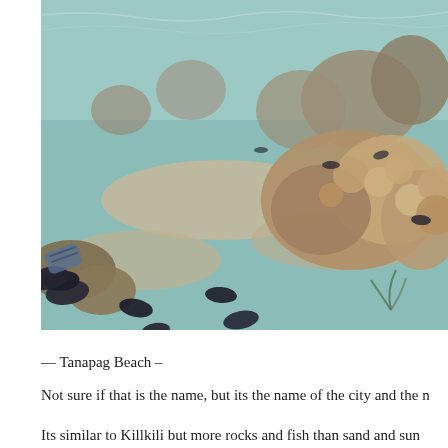[Figure (photo): Underwater photograph of a coral reef with numerous dark-colored fish swimming among coral formations, sandy bottom visible, clear shallow water]
— Tanapag Beach –
Not sure if that is the name, but its the name of the city and the n
Its similar to Killkili but more rocks and fish than sand and sun